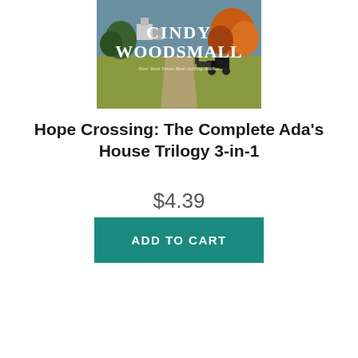[Figure (photo): Book cover for 'Hope Crossing: The Complete Ada's House Trilogy 3-in-1' by Cindy Woodsmall. Shows an autumn rural landscape with a horse-drawn buggy on a country road. Author name 'CINDY WOODSMALL' in large white serif letters, 'New York Times Best-Selling Author' in italic below.]
Hope Crossing: The Complete Ada's House Trilogy 3-in-1
$4.39
ADD TO CART